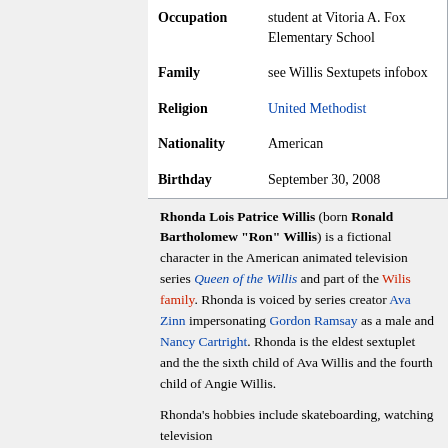| Field | Value |
| --- | --- |
| Occupation | student at Vitoria A. Fox Elementary School |
| Family | see Willis Sextupets infobox |
| Religion | United Methodist |
| Nationality | American |
| Birthday | September 30, 2008 |
Rhonda Lois Patrice Willis (born Ronald Bartholomew "Ron" Willis) is a fictional character in the American animated television series Queen of the Willis and part of the Wilis family. Rhonda is voiced by series creator Ava Zinn impersonating Gordon Ramsay as a male and Nancy Cartright. Rhonda is the eldest sextuplet and the the sixth child of Ava Willis and the fourth child of Angie Willis.
Rhonda's hobbies include skateboarding, watching television